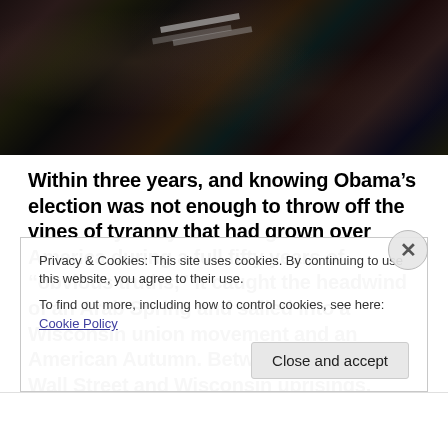[Figure (photo): Large crowd of people photographed from above, dark tones, a banner or sign visible in the upper portion]
Within three years, and knowing Obama’s election was not enough to throw off the vines of tyranny that had grown over America during a full fifty years of “obvious truths,” it caught the headwind of an Arab Spring and sailed into a Wisconsin union movement and an American Autumn. Between the Occupy Wall Street and Wisconsin uprisings, America saw the largest outpouring of revolutionary fervor since the
Privacy & Cookies: This site uses cookies. By continuing to use this website, you agree to their use.
To find out more, including how to control cookies, see here: Cookie Policy
Close and accept